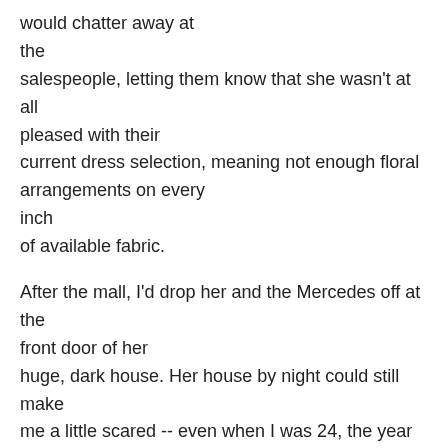would chatter away at the salespeople, letting them know that she wasn't at all pleased with their current dress selection, meaning not enough floral arrangements on every inch of available fabric.
After the mall, I'd drop her and the Mercedes off at the front door of her huge, dark house. Her house by night could still make me a little scared -- even when I was 24, the year Mother died in a car wreck, driving the same little blue Mercedes.